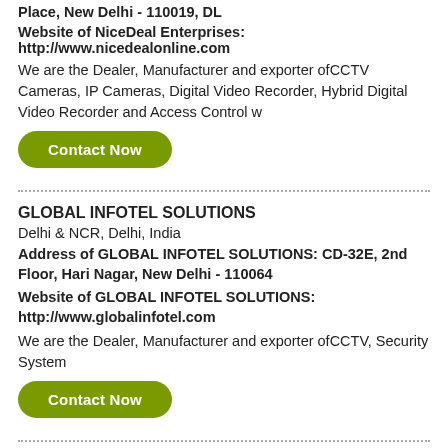Place, New Delhi - 110019, DL
Website of NiceDeal Enterprises: http://www.nicedealonline.com
We are the Dealer, Manufacturer and exporter ofCCTV Cameras, IP Cameras, Digital Video Recorder, Hybrid Digital Video Recorder and Access Control w
Contact Now
GLOBAL INFOTEL SOLUTIONS
Delhi & NCR, Delhi, India
Address of GLOBAL INFOTEL SOLUTIONS: CD-32E, 2nd Floor, Hari Nagar, New Delhi - 110064
Website of GLOBAL INFOTEL SOLUTIONS: http://www.globalinfotel.com
We are the Dealer, Manufacturer and exporter ofCCTV, Security System
Contact Now
AMS Security
Delhi & NCR, Delhi, India
Address of AMS Security: RZ-45, B Block, Raghu Nagar Opposite